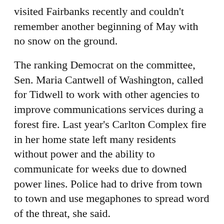visited Fairbanks recently and couldn't remember another beginning of May with no snow on the ground.
The ranking Democrat on the committee, Sen. Maria Cantwell of Washington, called for Tidwell to work with other agencies to improve communications services during a forest fire. Last year's Carlton Complex fire in her home state left many residents without power and the ability to communicate for weeks due to downed power lines. Police had to drive from town to town and use megaphones to spread word of the threat, she said.
More in News
KDLL and The Peninsula Clarion present: 2022 Candidate Forum Series
[Figure (photo): Partial photo of a person, cropped at bottom of page]